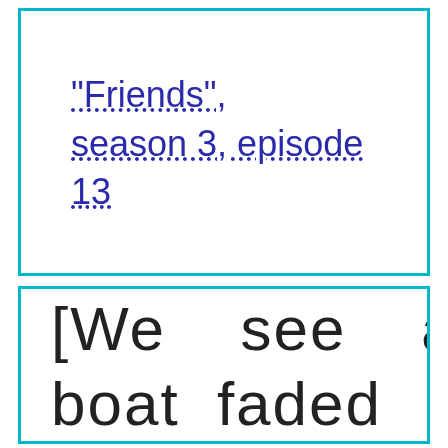"Friends", season 3, episode 13
[We see a boat faded...